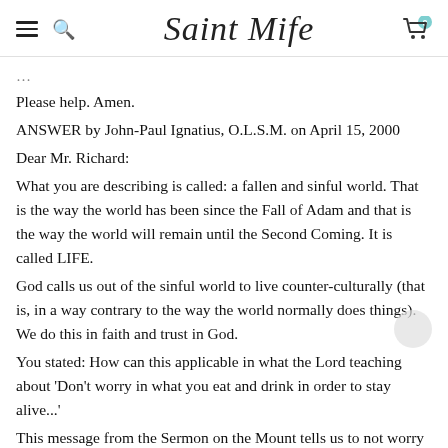Saint Mife
Please help. Amen.
ANSWER by John-Paul Ignatius, O.L.S.M. on April 15, 2000
Dear Mr. Richard:
What you are describing is called: a fallen and sinful world. That is the way the world has been since the Fall of Adam and that is the way the world will remain until the Second Coming. It is called LIFE.
God calls us out of the sinful world to live counter-culturally (that is, in a way contrary to the way the world normally does things). We do this in faith and trust in God.
You stated: How can this applicable in what the Lord teaching about 'Don't worry in what you eat and drink in order to stay alive...'
This message from the Sermon on the Mount tells us to not worry about the world, to not worry about the Life,